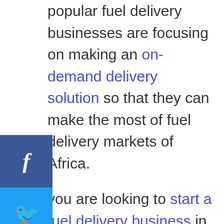popular fuel delivery businesses are focusing on making an on-demand delivery solution so that they can make the most of fuel delivery markets of Africa.
If you are looking to start a fuel delivery business in Africa, then firstly you would have to understand these challenges. Apart from this, Africa is becoming the land of attractive opportunities in the fuel delivery sector that can help you to fetch great profits.
In this blog, we will give you an in-depth view of African fuel delivery industry. We